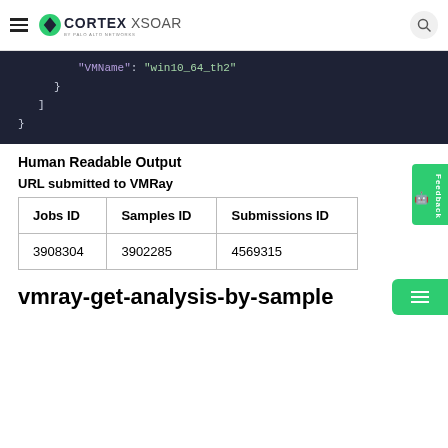CORTEX XSOAR BY PALO ALTO NETWORKS
"VMName": "win10_64_th2"
    }
  ]
}
Human Readable Output
URL submitted to VMRay
| Jobs ID | Samples ID | Submissions ID |
| --- | --- | --- |
| 3908304 | 3902285 | 4569315 |
vmray-get-analysis-by-sample